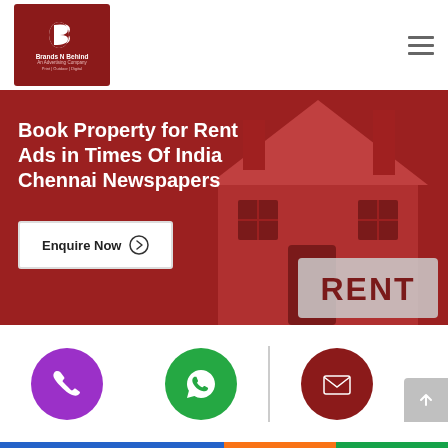[Figure (logo): Brands N Behind logo — dark red square with stylized B icon and text 'Brands N Behind / An Advertising Company / Print | Outdoor | Digital']
Book Property for Rent Ads in Times Of India Chennai Newspapers
[Figure (illustration): Red illustrated house with RENT sign on a dark red hero banner background]
Enquire Now →
[Figure (infographic): Three contact icon circles: purple phone, green WhatsApp, dark red email/envelope]